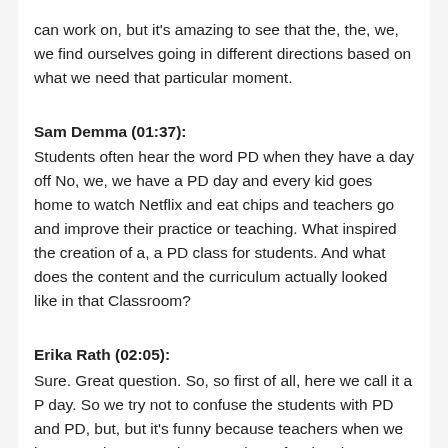can work on, but it's amazing to see that the, the, we, we find ourselves going in different directions based on what we need that particular moment.
Sam Demma (01:37):
Students often hear the word PD when they have a day off No, we, we have a PD day and every kid goes home to watch Netflix and eat chips and teachers go and improve their practice or teaching. What inspired the creation of a, a PD class for students. And what does the content and the curriculum actually looked like in that Classroom?
Erika Rath (02:05):
Sure. Great question. So, so first of all, here we call it a P day. So we try not to confuse the students with PD and PD, but, but it's funny because teachers when we have PD days or we have we do professional